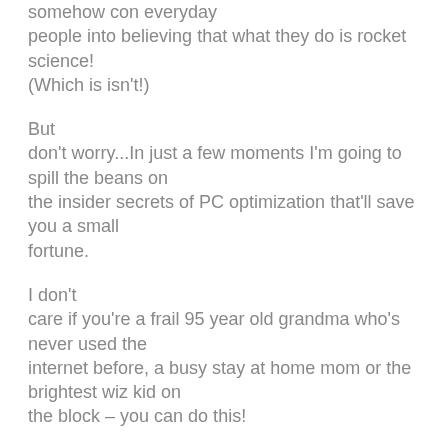somehow con everyday people into believing that what they do is rocket science! (Which is isn't!)
But don't worry...In just a few moments I'm going to spill the beans on the insider secrets of PC optimization that'll save you a small fortune.
I don't care if you're a frail 95 year old grandma who's never used the internet before, a busy stay at home mom or the brightest wiz kid on the block – you can do this!